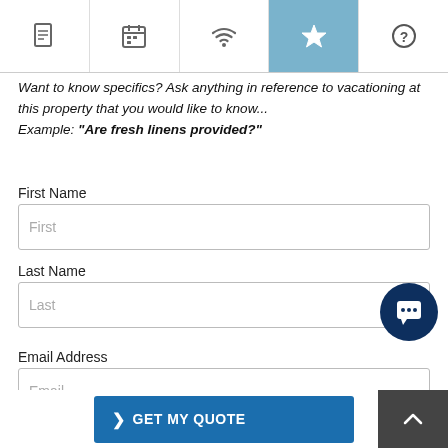[Figure (screenshot): Navigation bar with 5 icon tabs: document, calendar, wifi, star (active/highlighted in blue), and question mark]
Want to know specifics? Ask anything in reference to vacationing at this property that you would like to know...
Example: “Are fresh linens provided?”
First Name
First
Last Name
Last
Email Address
Email
> GET MY QUOTE